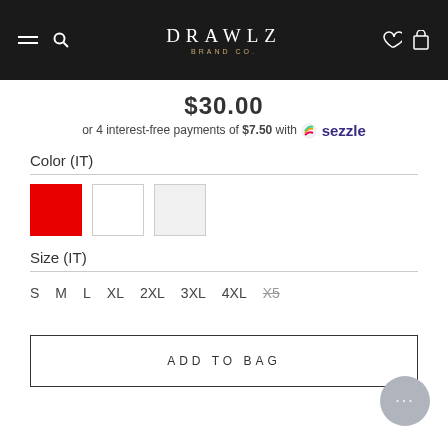DRAWLZ [navigation bar with hamburger, search, logo, heart, bag icons]
$30.00
or 4 interest-free payments of $7.50 with Sezzle
Color (IT)
[Figure (other): Three color swatches: red, white, light gray]
Size (IT)
S
M
L
XL
2XL
3XL
4XL
X5 (strikethrough)
ADD TO BAG